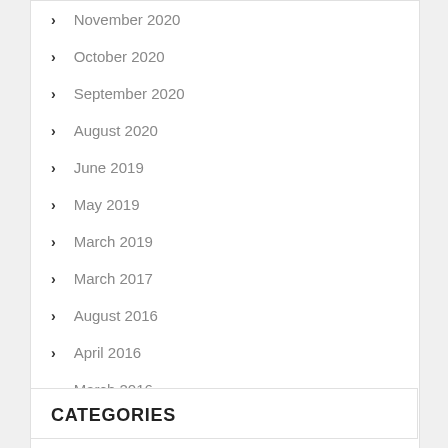November 2020
October 2020
September 2020
August 2020
June 2019
May 2019
March 2019
March 2017
August 2016
April 2016
March 2016
February 2016
CATEGORIES